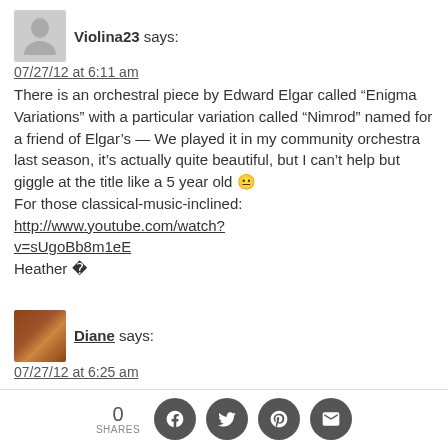Violina23 says:
07/27/12 at 6:11 am
There is an orchestral piece by Edward Elgar called “Enigma Variations” with a particular variation called “Nimrod” named for a friend of Elgar’s — We played it in my community orchestra last season, it’s actually quite beautiful, but I can’t help but giggle at the title like a 5 year old 😐
For those classical-music-inclined:
http://www.youtube.com/watch?v=sUgoBb8m1eE
Heather �
Diane says:
07/27/12 at 6:25 am
DesTroy made me laugh out loud for
0 SHARES